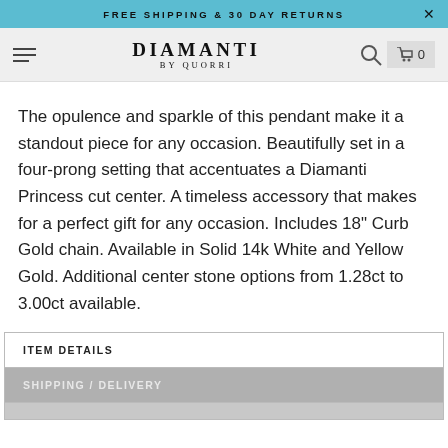FREE SHIPPING & 30 DAY RETURNS
[Figure (logo): Diamanti by Quorri logo with hamburger menu, search icon, and cart icon showing 0]
The opulence and sparkle of this pendant make it a standout piece for any occasion. Beautifully set in a four-prong setting that accentuates a Diamanti Princess cut center. A timeless accessory that makes for a perfect gift for any occasion. Includes 18" Curb Gold chain. Available in Solid 14k White and Yellow Gold. Additional center stone options from 1.28ct to 3.00ct available.
ITEM DETAILS
SHIPPING / DELIVERY